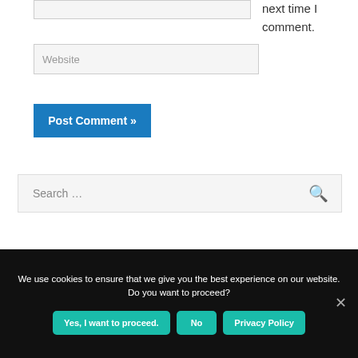[Figure (screenshot): Email input text field, partially visible at top]
next time I comment.
[Figure (screenshot): Website input text field with placeholder text 'Website']
[Figure (screenshot): Blue 'Post Comment »' submit button]
[Figure (screenshot): Search bar with placeholder 'Search …' and search icon]
We use cookies to ensure that we give you the best experience on our website. Do you want to proceed?
[Figure (screenshot): Cookie consent bar with Yes, No, and Privacy Policy buttons]